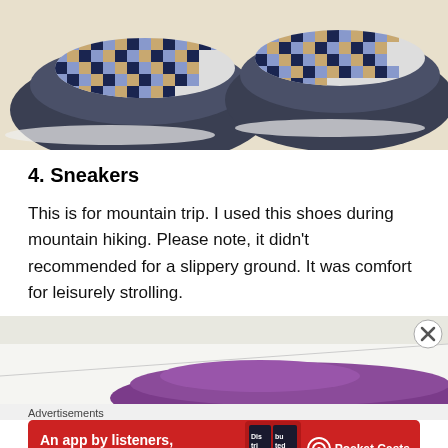[Figure (photo): Close-up photo of two dark navy/grey sneakers showing checkered interior lining pattern in blue, black, and tan colors, viewed from above/behind]
4. Sneakers
This is for mountain trip. I used this shoes during mountain hiking. Please note, it didn't recommended for a slippery ground. It was comfort for leisurely strolling.
[Figure (photo): Partial photo of a purple/violet shiny object on a white surface, partially visible at bottom of page]
Advertisements
[Figure (screenshot): Pocket Casts advertisement banner with red background. Text reads: An app by listeners, for listeners. Shows app icon and Pocket Casts logo with headphone symbol.]